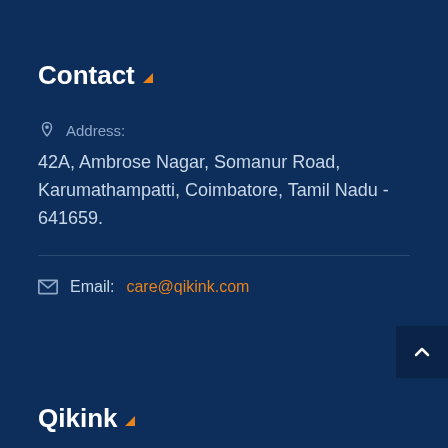Contact
Address: 42A, Ambrose Nagar, Somanur Road, Karumathampatti, Coimbatore, Tamil Nadu - 641659.
Email: care@qikink.com
Qikink